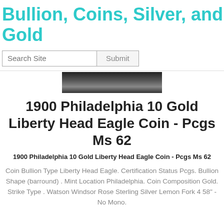Bullion, Coins, Silver, and Gold
Search Site  Submit
[Figure (photo): Partial image of a coin or metallic object, dark with grey tones, cropped at top]
1900 Philadelphia 10 Gold Liberty Head Eagle Coin - Pcgs Ms 62
1900 Philadelphia 10 Gold Liberty Head Eagle Coin - Pcgs Ms 62
Coin Bullion Type Liberty Head Eagle. Certification Status Pcgs. Bullion Shape (barround) . Mint Location Philadelphia. Coin Composition Gold. Strike Type . Watson Windsor Rose Sterling Silver Lemon Fork 4 58" - No Mono.